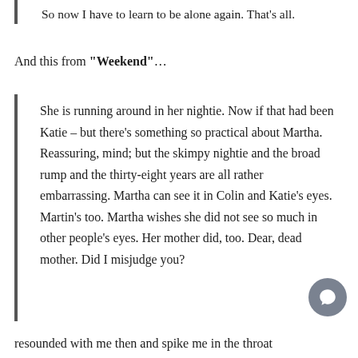So now I have to learn to be alone again. That's all.
And this from "Weekend"…
She is running around in her nightie. Now if that had been Katie – but there's something so practical about Martha. Reassuring, mind; but the skimpy nightie and the broad rump and the thirty-eight years are all rather embarrassing. Martha can see it in Colin and Katie's eyes. Martin's too. Martha wishes she did not see so much in other people's eyes. Her mother did, too. Dear, dead mother. Did I misjudge you?
resounded with me then and spike me in the throat